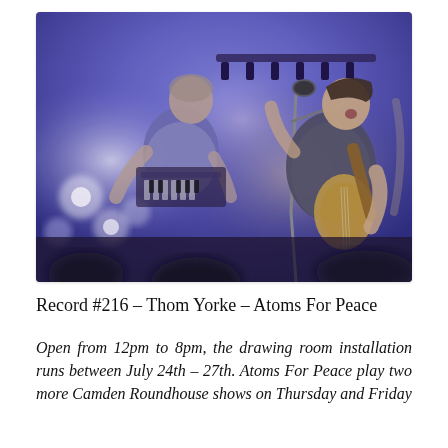[Figure (photo): Concert photo of two musicians on stage. On the right, a man with a guitar sings into a microphone with his head tilted back, wearing a sleeveless dark top. On the left, another musician in a purple/grey t-shirt stands at a keyboard/equipment. Stage lighting creates a blue and white atmospheric backdrop.]
Record #216 – Thom Yorke – Atoms For Peace
Open from 12pm to 8pm, the drawing room installation runs between July 24th – 27th. Atoms For Peace play two more Camden Roundhouse shows on Thursday and Friday